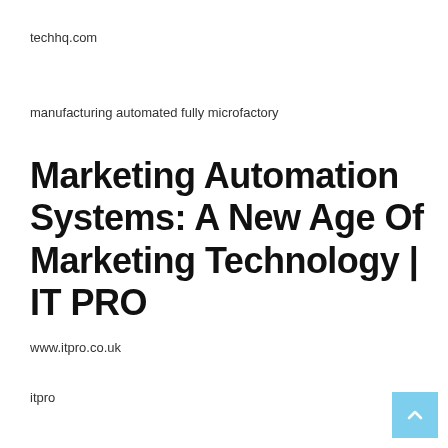techhq.com
manufacturing automated fully microfactory
Marketing Automation Systems: A New Age Of Marketing Technology | IT PRO
www.itpro.co.uk
itpro